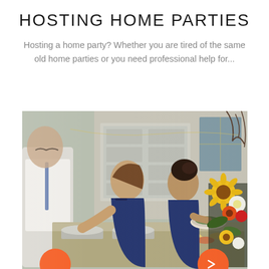HOSTING HOME PARTIES
Hosting a home party? Whether you are tired of the same old home parties or you need professional help for...
[Figure (photo): Outdoor home party scene with people in formal/semi-formal attire serving themselves at a buffet table. Women in navy blue dresses are at the table, a man in white shirt is visible on the left, and colorful floral arrangements are on the right. Two orange circles are visible at the bottom of the image.]